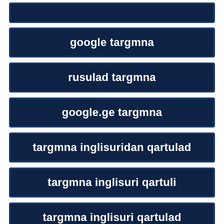google targmna
rusulad targmna
google.ge targmna
targmna inglisuridan qartulad
targmna inglisuri qartuli
targmna inglisuri qartulad